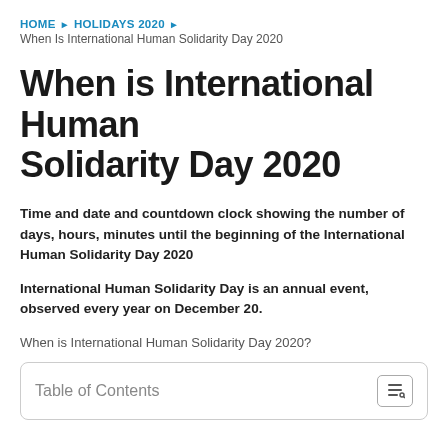HOME ▶ HOLIDAYS 2020 ▶
When Is International Human Solidarity Day 2020
When is International Human Solidarity Day 2020
Time and date and countdown clock showing the number of days, hours, minutes until the beginning of the International Human Solidarity Day 2020
International Human Solidarity Day is an annual event, observed every year on December 20.
When is International Human Solidarity Day 2020?
| Table of Contents |
| --- |